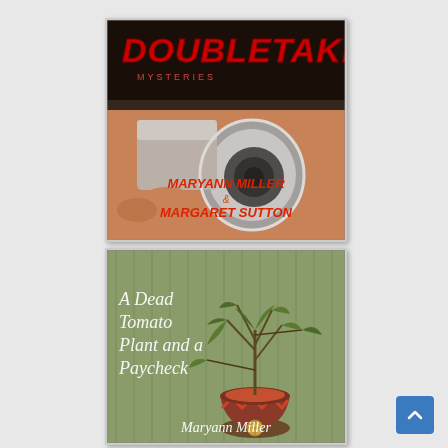[Figure (illustration): Book cover for 'Doubletake' by Maryann Miller & Margaret Sutton — dark background with close-up of a handgun barrel pointed at viewer, red stylized title text 'DOUBLETAKE' at top, authors' names in red at bottom.]
[Figure (illustration): Book cover for 'A Dead Tomato Plant and a Paycheck' by Maryann Miller — green/olive background with illustration of a dead wilted tomato plant in a decorative pot, white italic title text on left side, author name in white at bottom.]